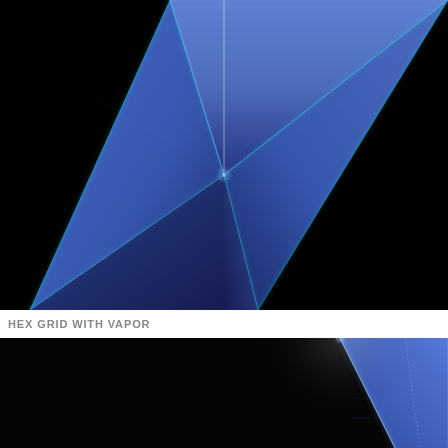[Figure (illustration): Close-up of a 3D rendered blue geometric star shape with glowing cyan edges on a black background. The star has faceted triangular panels meeting at sharp ridges, with a central vertical glowing line. The lower portion shows deep black recesses between the star points. The image is cropped showing roughly the upper and middle section of the star.]
HEX GRID WITH VAPOR
[Figure (illustration): Bottom partial image showing another 3D rendered geometric shape — a blue triangular/pyramidal form with glowing cyan dotted edges on a black background, cropped at the bottom of the page showing only the top-right portion of the shape.]